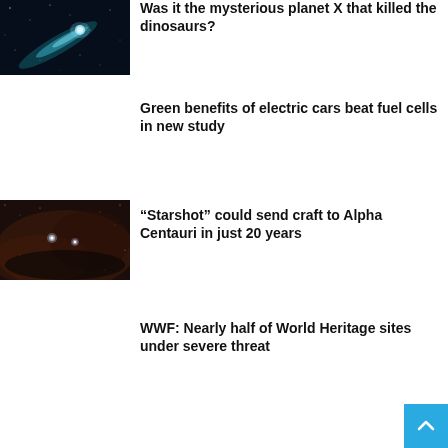[Figure (photo): Comet with glowing blue tail against dark starry sky]
Was it the mysterious planet X that killed the dinosaurs?
Green benefits of electric cars beat fuel cells in new study
[Figure (photo): Two bright stars (Alpha Centauri system) against a dark brownish-purple nebula background]
“Starshot” could send craft to Alpha Centauri in just 20 years
WWF: Nearly half of World Heritage sites under severe threat